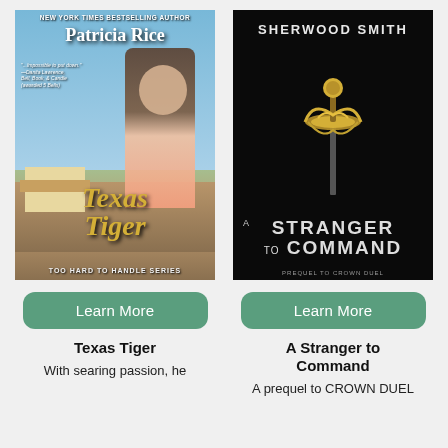[Figure (illustration): Book cover for Texas Tiger by Patricia Rice, Too Hard to Handle Series, showing a blonde woman and man embracing near a rural train station.]
[Figure (illustration): Book cover for A Stranger to Command by Sherwood Smith, Prequel to Crown Duel, showing a golden ornate sword hilt on a black background.]
Learn More
Learn More
Texas Tiger
A Stranger to Command
With searing passion, he
A prequel to CROWN DUEL